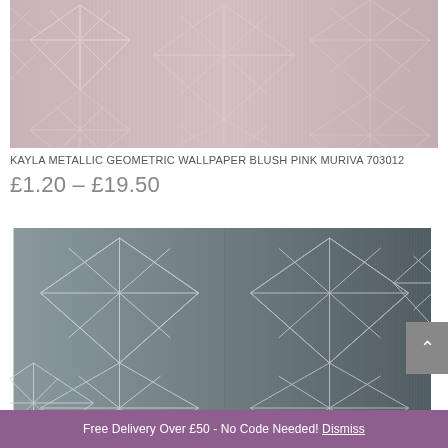[Figure (photo): Kayla Metallic Geometric Wallpaper in blush pink showing diamond/starburst geometric pattern with metallic rose lines on pale pink brushed background]
KAYLA METALLIC GEOMETRIC WALLPAPER BLUSH PINK MURIVA 703012
£1.20 – £19.50
[Figure (photo): Kayla Metallic Geometric Wallpaper in two-tone grey showing diamond/starburst geometric pattern with silver metallic lines on light grey and dark grey brushed background]
Free Delivery Over £50 - No Code Needed! Dismiss